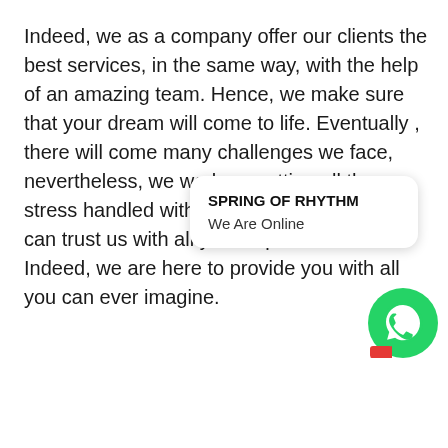Indeed, we as a company offer our clients the best services, in the same way, with the help of an amazing team. Hence, we make sure that your dream will come to life. Eventually , there will come many challenges we face, nevertheless, we work on getting all those stress handled with care for you. Hence, you can trust us with all your expectations. Indeed, we are here to provide you with all you can ever imagine.
[Figure (other): WhatsApp chat widget showing company name 'SPRING OF RHYTHM' and status 'We Are Online', with WhatsApp logo button and red notification badge]